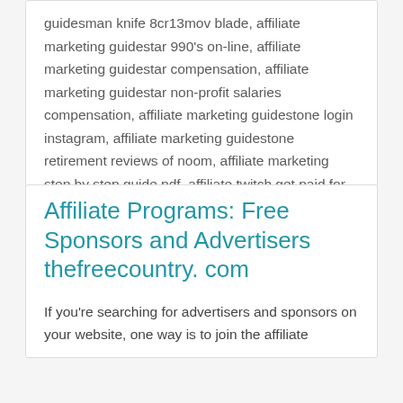guidesman knife 8cr13mov blade, affiliate marketing guidestar 990's on-line, affiliate marketing guidestar compensation, affiliate marketing guidestar non-profit salaries compensation, affiliate marketing guidestone login instagram, affiliate marketing guidestone retirement reviews of noom, affiliate marketing step by step guide pdf, affiliate twitch get paid for ads 2020 vision images, amazon affiliate rules, partner vs affiliate twitch logo, twitch affiliate guidelines
Affiliate Programs: Free Sponsors and Advertisers thefreecountry. com
If you're searching for advertisers and sponsors on your website, one way is to join the affiliate